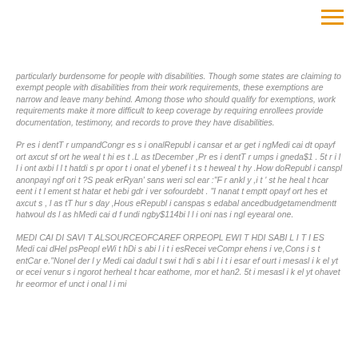hamburger menu icon
particularly burdensome for people with disabilities. Though some states are claiming to exempt people with disabilities from their work requirements, these exemptions are narrow and leave many behind. Among those who should qualify for exemptions, work requirements make it more difficult to keep coverage by requiring enrollees provide documentation, testimony, and records to prove they have disabilities.
Pr es i dentT r umpandCongr es s i onalRepubl i cansar et ar get i ngMedi cai dt opayf ort axcut sf ort he weal t hi es t .L as tDecember ,Pr es i dentT r umps i gneda$1 . 5t r i l l i ont axbi l l t hatdi s pr opor t i onat el ybenef i t s t heweal t hy .How doRepubl i canspl anonpayi ngf ori t ?S peak erRyan' sans weri scl ear :"F r ankl y ,i t ' st he heal t hcar eent i t l ement st hatar et hebi gdr i ver sofourdebt . "I nanat t emptt opayf ort hes et axcut s , l as tT hur s day ,Hous eRepubl i canspas s edabal ancedbudgetamendmentt hatwoul ds l as hMedi cai d f undi ngby$114bi l l i oni nas i ngl eyearal one.
MEDI CAI DI SAVI T ALSOURCEOFCAREF ORPEOPL EWI T HDI SABI L I T I ES Medi cai dHel psPeopl eWi t hDi s abi l i t i esRecei veCompr ehens i ve,Cons i s t entCar e."Nonel der l y Medi cai dadul t swi t hdi s abi l i t i esar ef ourt i mesasl i k el yt or ecei venur s i ngorot herheal t hcar eathome, mor et han2. 5t i mesasl i k el yt ohavet hr eeormor ef unct i onal l i mi t at i on...